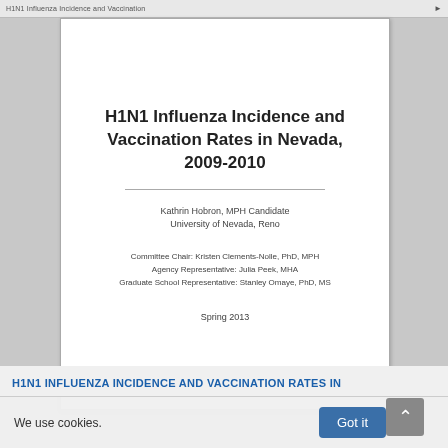H1N1 Influenza Incidence and Vaccination
H1N1 Influenza Incidence and Vaccination Rates in Nevada, 2009-2010
Kathrin Hobron, MPH Candidate
University of Nevada, Reno
Committee Chair: Kristen Clements-Nolle, PhD, MPH
Agency Representative: Julia Peek, MHA
Graduate School Representative: Stanley Omaye, PhD, MS
Spring 2013
H1N1 INFLUENZA INCIDENCE AND VACCINATION RATES IN